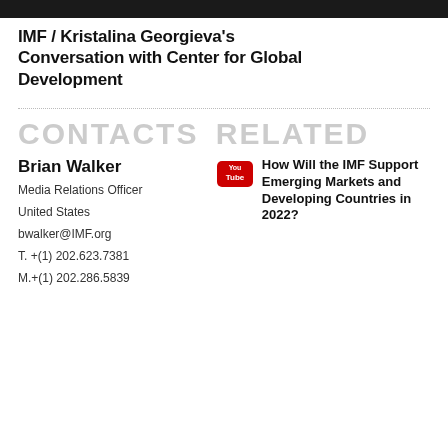[Figure (other): Black header bar at top of page]
IMF / Kristalina Georgieva's Conversation with Center for Global Development
CONTACTS
RELATED
Brian Walker
Media Relations Officer
United States
bwalker@IMF.org
T. +(1) 202.623.7381
M.+(1) 202.286.5839
[Figure (logo): YouTube logo icon]
How Will the IMF Support Emerging Markets and Developing Countries in 2022?